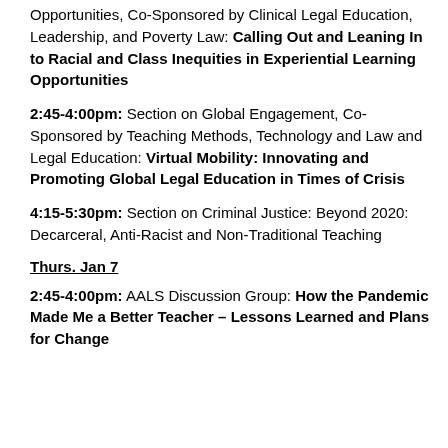Opportunities, Co-Sponsored by Clinical Legal Education, Leadership, and Poverty Law: Calling Out and Leaning In to Racial and Class Inequities in Experiential Learning Opportunities
2:45-4:00pm: Section on Global Engagement, Co-Sponsored by Teaching Methods, Technology and Law and Legal Education: Virtual Mobility: Innovating and Promoting Global Legal Education in Times of Crisis
4:15-5:30pm: Section on Criminal Justice: Beyond 2020: Decarceral, Anti-Racist and Non-Traditional Teaching
Thurs. Jan 7
2:45-4:00pm: AALS Discussion Group: How the Pandemic Made Me a Better Teacher – Lessons Learned and Plans for Change